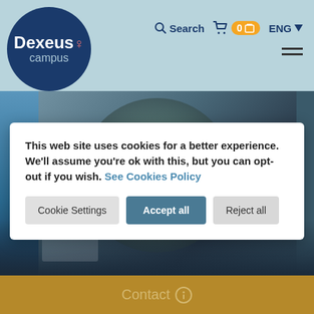[Figure (screenshot): Dexeus Campus website screenshot showing header with logo, search/cart/language nav, blurred microscope background image, cookie consent banner, and Contact footer bar]
This web site uses cookies for a better experience. We'll assume you're ok with this, but you can opt-out if you wish. See Cookies Policy
Cookie Settings | Accept all | Reject all
Contact